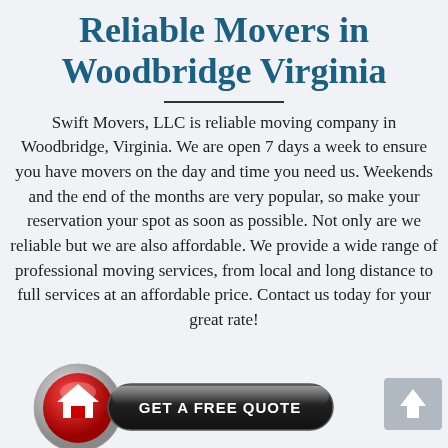Reliable Movers in Woodbridge Virginia
Swift Movers, LLC is reliable moving company in Woodbridge, Virginia. We are open 7 days a week to ensure you have movers on the day and time you need us. Weekends and the end of the months are very popular, so make your reservation your spot as soon as possible. Not only are we reliable but we are also affordable. We provide a wide range of professional moving services, from local and long distance to full services at an affordable price. Contact us today for your great rate!
[Figure (illustration): Two buttons at the bottom: a round red home button with a house icon on the left, a dark oval 'GET A FREE QUOTE' button in the center, and a gray back-to-top button with an up-arrow on the right]